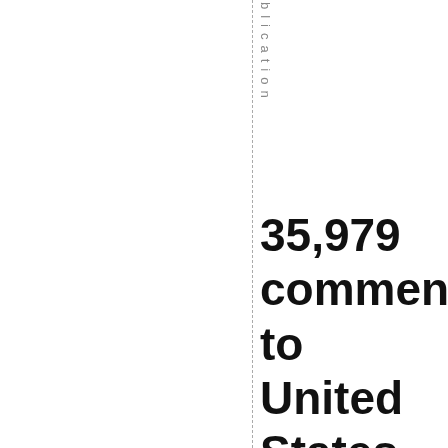blication
35,979 comments to United States Patent US 9,115,913